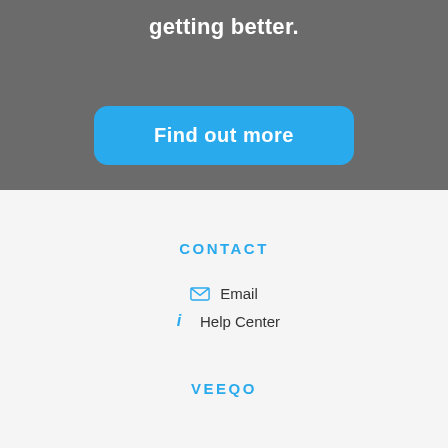getting better.
[Figure (other): Blue rounded button with white text 'Find out more']
CONTACT
Email
Help Center
VEEQO